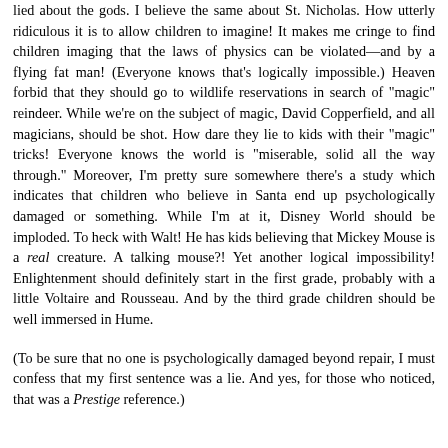lied about the gods. I believe the same about St. Nicholas. How utterly ridiculous it is to allow children to imagine! It makes me cringe to find children imaging that the laws of physics can be violated—and by a flying fat man! (Everyone knows that's logically impossible.) Heaven forbid that they should go to wildlife reservations in search of "magic" reindeer. While we're on the subject of magic, David Copperfield, and all magicians, should be shot. How dare they lie to kids with their "magic" tricks! Everyone knows the world is "miserable, solid all the way through." Moreover, I'm pretty sure somewhere there's a study which indicates that children who believe in Santa end up psychologically damaged or something. While I'm at it, Disney World should be imploded. To heck with Walt! He has kids believing that Mickey Mouse is a real creature. A talking mouse?! Yet another logical impossibility! Enlightenment should definitely start in the first grade, probably with a little Voltaire and Rousseau. And by the third grade children should be well immersed in Hume.
(To be sure that no one is psychologically damaged beyond repair, I must confess that my first sentence was a lie. And yes, for those who noticed, that was a Prestige reference.)